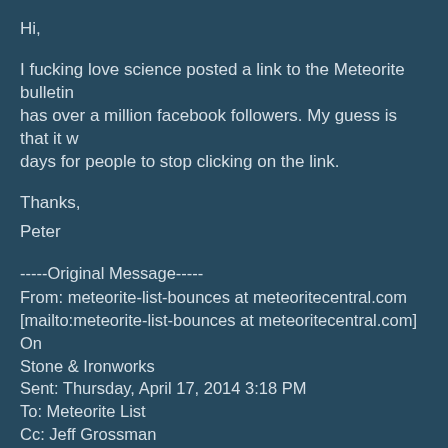Hi,
I fucking love science posted a link to the Meteorite bulletin has over a million facebook followers. My guess is that it w days for people to stop clicking on the link.
Thanks,
Peter
-----Original Message-----
From: meteorite-list-bounces at meteoritecentral.com
[mailto:meteorite-list-bounces at meteoritecentral.com] On Stone & Ironworks
Sent: Thursday, April 17, 2014 3:18 PM
To: Meteorite List
Cc: Jeff Grossman
Subject: [meteorite-list] Met Bulletin Off-Line - Traffic Overl
Hi Jeff and List,
As of now, the Met Bulletin is offline. When I try to access it following message in plain text on a white screen: